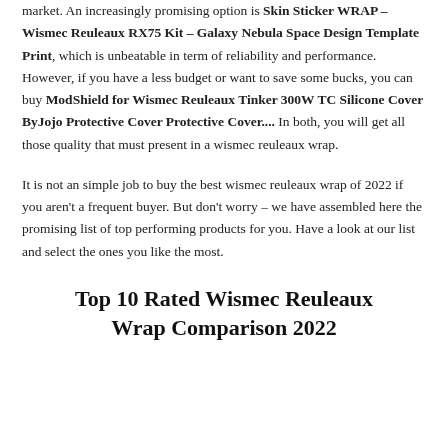market. An increasingly promising option is Skin Sticker WRAP – Wismec Reuleaux RX75 Kit – Galaxy Nebula Space Design Template Print, which is unbeatable in term of reliability and performance. However, if you have a less budget or want to save some bucks, you can buy ModShield for Wismec Reuleaux Tinker 300W TC Silicone Cover ByJojo Protective Cover Protective Cover.... In both, you will get all those quality that must present in a wismec reuleaux wrap.
It is not an simple job to buy the best wismec reuleaux wrap of 2022 if you aren't a frequent buyer. But don't worry – we have assembled here the promising list of top performing products for you. Have a look at our list and select the ones you like the most.
Top 10 Rated Wismec Reuleaux Wrap Comparison 2022